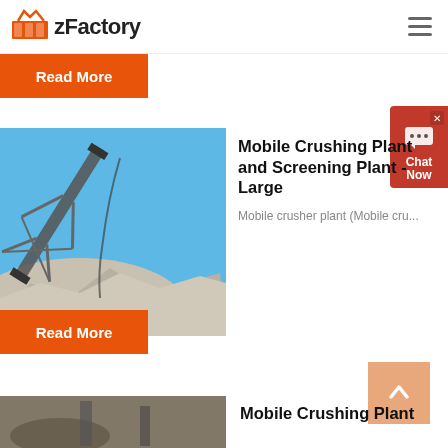zFactory
Read More
[Figure (photo): Industrial conveyor belt and crusher plant against blue sky, with rock/gravel pile below]
Mobile Crushing Plant and Screening Plant - Large
Mobile crusher plant (Mobile cru...
Read More
[Figure (photo): Mobile crushing plant equipment, partial view at bottom of page]
Mobile Crushing Plant